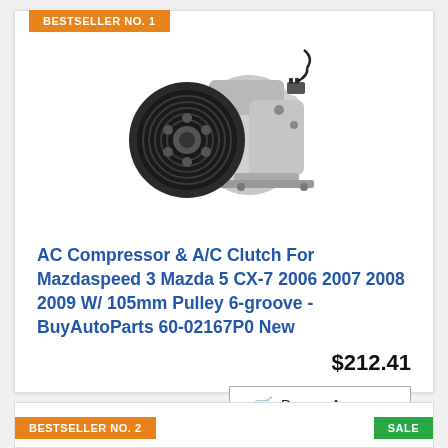BESTSELLER NO. 1
[Figure (photo): AC Compressor with A/C Clutch automotive part, silver/grey metal body with black pulley wheel on left side]
AC Compressor & A/C Clutch For Mazdaspeed 3 Mazda 5 CX-7 2006 2007 2008 2009 W/ 105mm Pulley 6-groove - BuyAutoParts 60-02167P0 New
$212.41
Buy on Amazon
BESTSELLER NO. 2
SALE